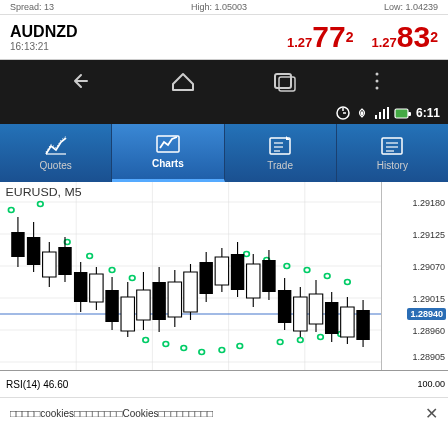Spread: 13   High: 1.05003   Low: 1.04239
AUDNZD  1.2777²  1.2783²  16:13:21
[Figure (screenshot): Android phone navigation bar with back, home, and recent apps buttons]
[Figure (screenshot): Mobile trading app showing EURUSD M5 candlestick chart with price range 1.28905-1.29180, current price 1.28940, RSI(14) 46.60, with Quotes/Charts/Trade/History navigation tabs, time 6:11]
□□□□□cookies□□□□□□□□Cookies□□□□□□□□□